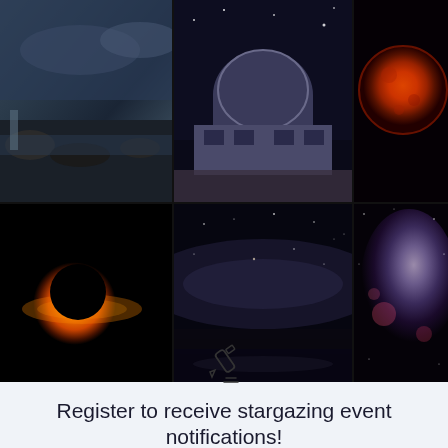[Figure (photo): A 2x3 grid of astronomy and space photographs: rocky coast at twilight, Griffith Observatory at night, blood moon lunar eclipse, black hole image (Sagittarius A*), Milky Way over a lake, and a galaxy/nebula close-up.]
[Figure (illustration): A small line-art icon of a pencil or editing tool, centered above the heading text.]
Register to receive stargazing event notifications!
Save your favourite locations and regions and receive updates when there's an event near you.